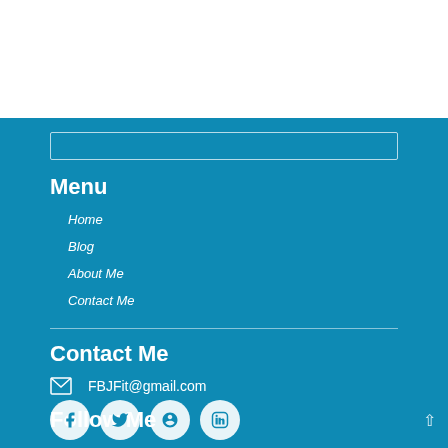Menu
Home
Blog
About Me
Contact Me
Contact Me
FBJFit@gmail.com
Follow Me